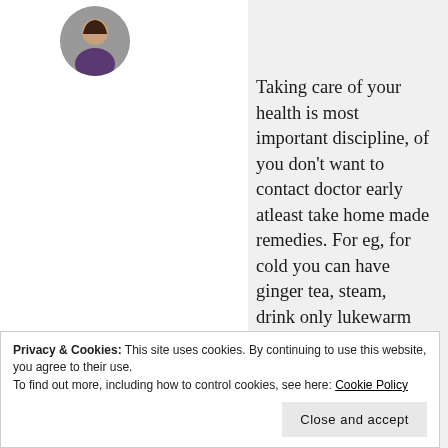[Figure (photo): Circular avatar/profile photo of a woman in the top-left area]
Taking care of your health is most important discipline, of you don't want to contact doctor early atleast take home made remedies. For eg, for cold you can have ginger tea, steam, drink only lukewarm water, have besan flour sheera .
remedy.
Privacy & Cookies: This site uses cookies. By continuing to use this website, you agree to their use.
To find out more, including how to control cookies, see here: Cookie Policy
Close and accept